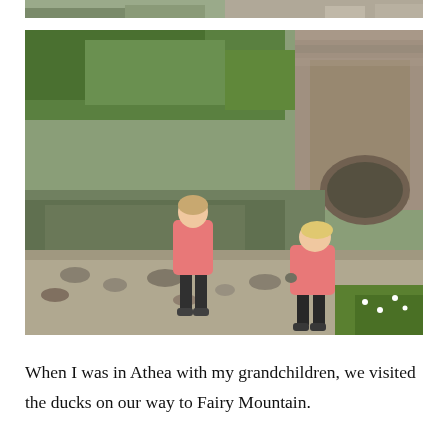[Figure (photo): Partial view of a photo at the top of the page showing rocky terrain and water, cropped at the top edge.]
[Figure (photo): Two young girls wearing pink jackets playing on a rocky riverbank near a stone arch bridge surrounded by green trees.]
When I was in Athea with my grandchildren, we visited the ducks on our way to Fairy Mountain.